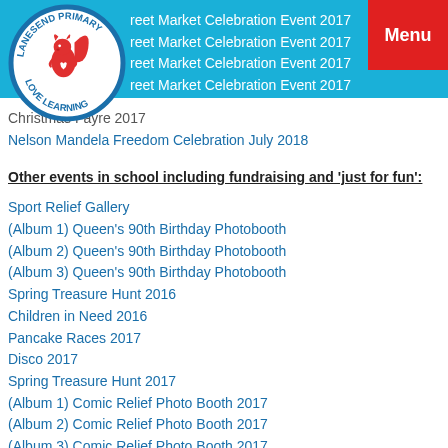[Figure (logo): Lanesend Primary School logo with squirrel and text 'Love Learning']
reet Market Celebration Event 2017
reet Market Celebration Event 2017
reet Market Celebration Event 2017
reet Market Celebration Event 2017
Christmas Fayre 2017
Nelson Mandela Freedom Celebration July 2018
Other events in school including fundraising and 'just for fun':
Sport Relief Gallery
(Album 1) Queen's 90th Birthday Photobooth
(Album 2) Queen's 90th Birthday Photobooth
(Album 3) Queen's 90th Birthday Photobooth
Spring Treasure Hunt 2016
Children in Need 2016
Pancake Races 2017
Disco 2017
Spring Treasure Hunt 2017
(Album 1) Comic Relief Photo Booth 2017
(Album 2) Comic Relief Photo Booth 2017
(Album 3) Comic Relief Photo Booth 2017